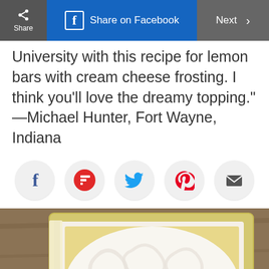Share | Share on Facebook | Next >
University with this recipe for lemon bars with cream cheese frosting. I think you'll love the dreamy topping." —Michael Hunter, Fort Wayne, Indiana
[Figure (infographic): Row of social sharing icons: Facebook (f), Flipboard (red F), Twitter (blue bird), Pinterest (red P), Email (envelope)]
[Figure (photo): Overhead photo of lemon bars with swirled cream cheese frosting in a white baking dish on a wooden surface]